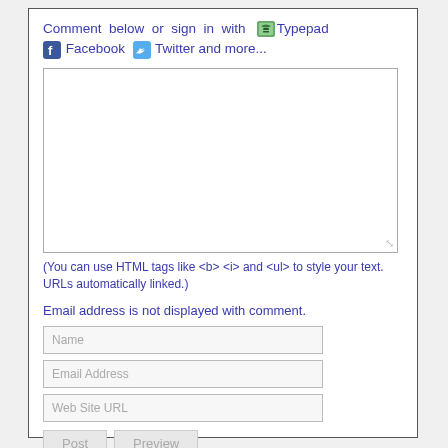Comment below or sign in with Typepad Facebook Twitter and more...
[Figure (other): Comment text area input box]
(You can use HTML tags like <b> <i> and <ul> to style your text. URLs automatically linked.)
Email address is not displayed with comment.
[Figure (other): Name input field]
[Figure (other): Email Address input field]
[Figure (other): Web Site URL input field]
[Figure (other): Post and Preview buttons]